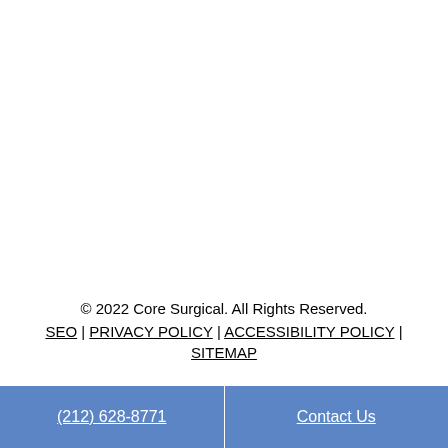© 2022 Core Surgical. All Rights Reserved. SEO | PRIVACY POLICY | ACCESSIBILITY POLICY | SITEMAP
(212) 628-8771 | Contact Us